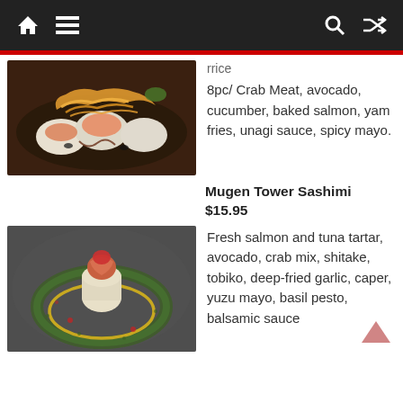Navigation bar with home, menu, search, and shuffle icons
8pc/ Crab Meat, avocado, cucumber, baked salmon, yam fries, unagi sauce, spicy mayo.
[Figure (photo): Sushi rolls topped with orange yam fries and sauce on a dark plate]
Mugen Tower Sashimi $15.95
Fresh salmon and tuna tartar, avocado, crab mix, shitake, tobiko, deep-fried garlic, caper, yuzu mayo, basil pesto, balsamic sauce
[Figure (photo): Sashimi tower with salmon on a circular garnish on a dark stone plate]